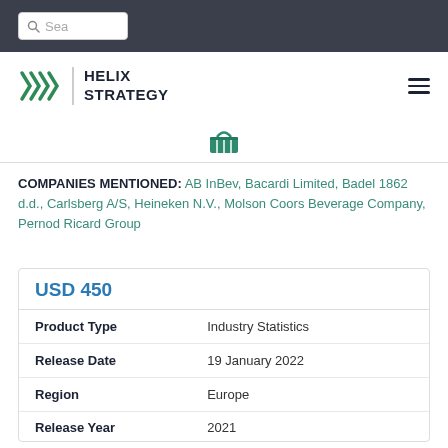Search bar navigation area
[Figure (logo): Helix Strategy logo with green chevron icon and hamburger menu]
[Figure (other): Shopping basket icon in teal/green]
COMPANIES MENTIONED: AB InBev, Bacardi Limited, Badel 1862 d.d., Carlsberg A/S, Heineken N.V., Molson Coors Beverage Company, Pernod Ricard Group
|  |  |
| --- | --- |
| USD 450 |  |
| Product Type | Industry Statistics |
| Release Date | 19 January 2022 |
| Region | Europe |
| Release Year | 2021 |